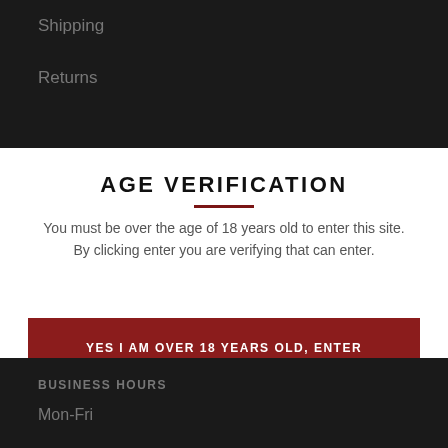Shipping
Returns
AGE VERIFICATION
You must be over the age of 18 years old to enter this site. By clicking enter you are verifying that can enter.
YES I AM OVER 18 YEARS OLD, ENTER
NO I AM UNDER 18 YEARS OLD, LEAVE
BUSINESS HOURS
Mon-Fri